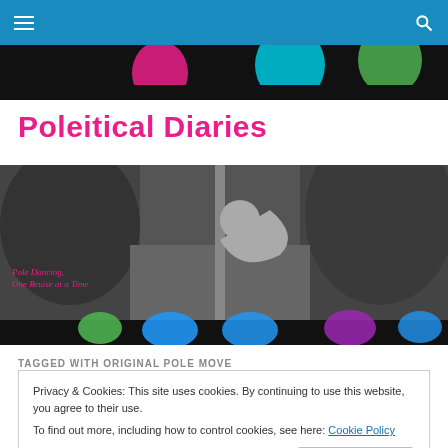Navigation bar with hamburger menu and search icon
[Figure (photo): Top image strip showing colorful balloons (pink, teal, green) against dark background]
Poleitical Diaries
[Figure (photo): Black and white banner photo of a woman pole dancing outdoors with text 'Pole Dancing, One Bruise at a Time' and colorful balloon strip at bottom]
TAGGED WITH ORIGINAL POLE MOVE
Privacy & Cookies: This site uses cookies. By continuing to use this website, you agree to their use.
To find out more, including how to control cookies, see here: Cookie Policy
Close and accept